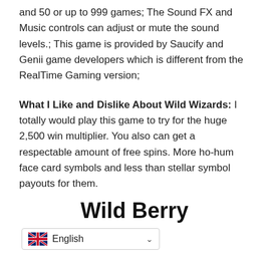and 50 or up to 999 games; The Sound FX and Music controls can adjust or mute the sound levels.; This game is provided by Saucify and Genii game developers which is different from the RealTime Gaming version;
What I Like and Dislike About Wild Wizards: I totally would play this game to try for the huge 2,500 win multiplier. You also can get a respectable amount of free spins. More ho-hum face card symbols and less than stellar symbol payouts for them.
Wild Berry
English